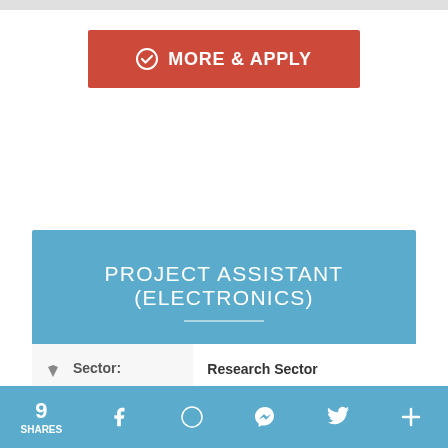[Figure (other): Red 'MORE & APPLY' button with checkmark icon]
PROJECT ASSISTANT (ELECTRONICS)
| Field | Value |
| --- | --- |
| Sector: | Research Sector |
| Salary: | Rs. 20000/- |
| Age: | Upto 50 years |
9 SHARES  [Facebook] [WhatsApp] [Messenger] [Twitter] [Plus]